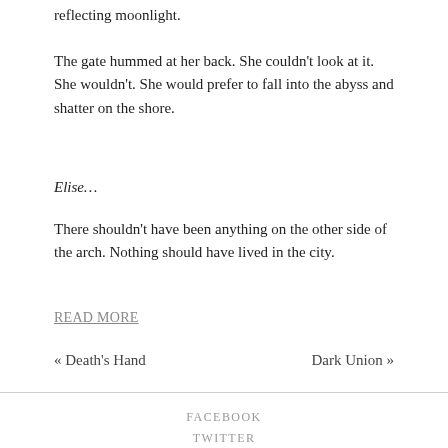reflecting moonlight.
The gate hummed at her back. She couldn't look at it. She wouldn't. She would prefer to fall into the abyss and shatter on the shore.
Elise…
There shouldn't have been anything on the other side of the arch. Nothing should have lived in the city.
READ MORE
« Death's Hand
Dark Union »
FACEBOOK
TWITTER
INSTAGRAM